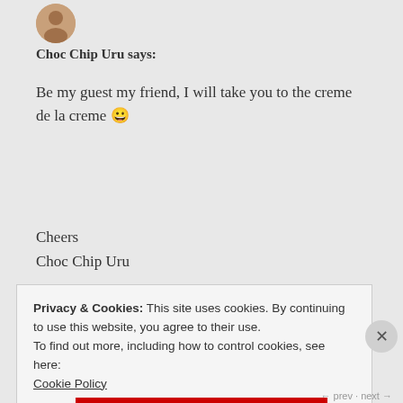[Figure (photo): Small circular avatar image at top left]
Choc Chip Uru says:
Be my guest my friend, I will take you to the creme de la creme 😀
Cheers
Choc Chip Uru
★ Like
June 26, 2012 at 11:50 pm
« REPLY
Privacy & Cookies: This site uses cookies. By continuing to use this website, you agree to their use.
To find out more, including how to control cookies, see here:
Cookie Policy
Close and accept